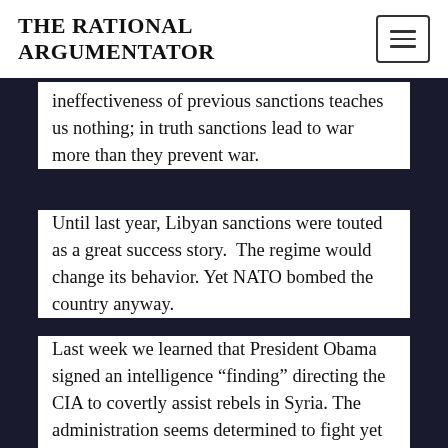THE RATIONAL ARGUMENTATOR
ineffectiveness of previous sanctions teaches us nothing; in truth sanctions lead to war more than they prevent war.
Until last year, Libyan sanctions were touted as a great success story.  The regime would change its behavior. Yet NATO bombed the country anyway.
Last week we learned that President Obama signed an intelligence “finding” directing the CIA to covertly assist rebels in Syria. The administration seems determined to fight yet another war in Syria that has nothing to do with American national interests.
We already know that a similar “finding” was signed under the latest Bush administration